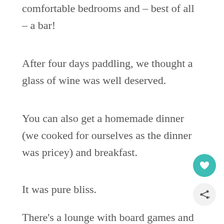comfortable bedrooms and – best of all – a bar!
After four days paddling, we thought a glass of wine was well deserved.
You can also get a homemade dinner (we cooked for ourselves as the dinner was pricey) and breakfast.
It was pure bliss.
There's a lounge with board games and books to read so it could be quite a social